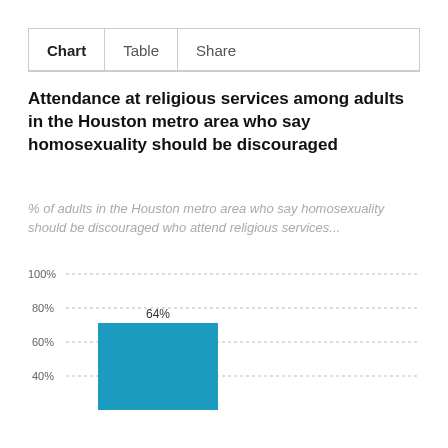Chart	Table	Share
Attendance at religious services among adults in the Houston metro area who say homosexuality should be discouraged
% of adults in the Houston metro area who say homosexuality should be discouraged who attend religious services...
[Figure (bar-chart): Attendance at religious services among adults in the Houston metro area who say homosexuality should be discouraged]